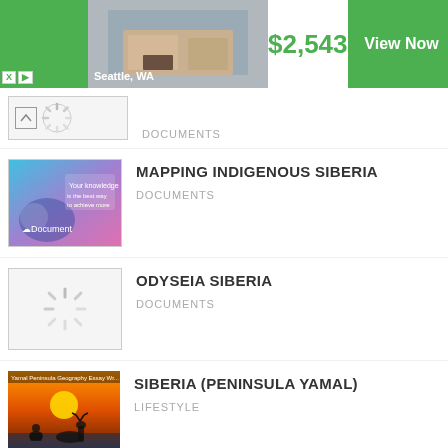[Figure (screenshot): Advertisement banner showing apartment in Seattle, WA with price $2,543 and View Now button]
DOCUMENTS
MAPPING INDIGENOUS SIBERIA
DOCUMENTS
ODYSEIA SIBERIA
DOCUMENTS
SIBERIA (PENINSULA YAMAL)
LIFESTYLE
TIMBER LOGGING IN CENTRAL SIBERIA I...
DOCUMENTS